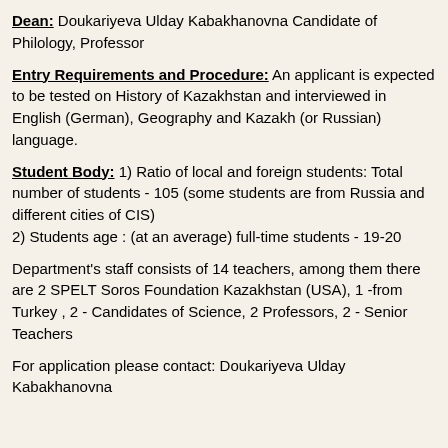Dean: Doukariyeva Ulday Kabakhanovna Candidate of Philology, Professor
Entry Requirements and Procedure: An applicant is expected to be tested on History of Kazakhstan and interviewed in English (German), Geography and Kazakh (or Russian) language.
Student Body: 1) Ratio of local and foreign students: Total number of students - 105 (some students are from Russia and different cities of CIS)
2) Students age : (at an average) full-time students - 19-20
Department's staff consists of 14 teachers, among them there are 2 SPELT Soros Foundation Kazakhstan (USA), 1 -from Turkey , 2 - Candidates of Science, 2 Professors, 2 - Senior Teachers
For application please contact: Doukariyeva Ulday Kabakhanovna